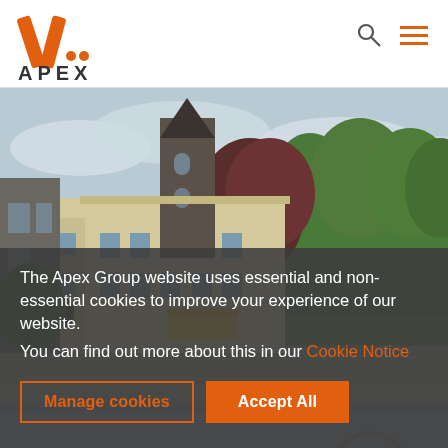[Figure (logo): Apex Group logo with orange stylized 'A' icon and APEX wordmark]
[Figure (photo): Panoramic photo of a historic European castle/mansion building with gothic tower, cream-colored facade, surrounded by lush green trees with a cloudy sky]
The Apex Group website uses essential and non-essential cookies to improve your experience of our website.
You can find out more about this in our Cookie Notice
Manage cookies
Accept All